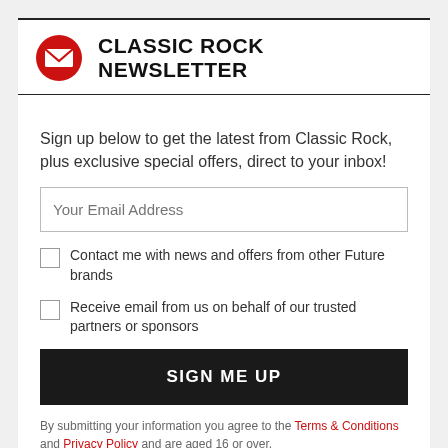CLASSIC ROCK NEWSLETTER
Sign up below to get the latest from Classic Rock, plus exclusive special offers, direct to your inbox!
Your Email Address
Contact me with news and offers from other Future brands
Receive email from us on behalf of our trusted partners or sponsors
SIGN ME UP
By submitting your information you agree to the Terms & Conditions and Privacy Policy and are aged 16 or over.